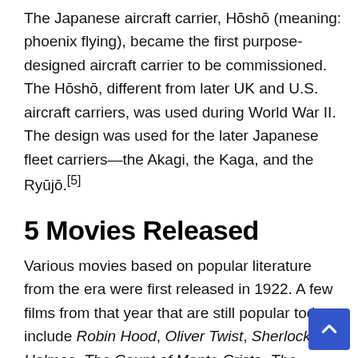The Japanese aircraft carrier, Hōshō (meaning: phoenix flying), became the first purpose-designed aircraft carrier to be commissioned. The Hōshō, different from later UK and U.S. aircraft carriers, was used during World War II. The design was used for the later Japanese fleet carriers—the Akagi, the Kaga, and the Ryūjō.[5]
5 Movies Released
Various movies based on popular literature from the era were first released in 1922. A few films from that year that are still popular today include Robin Hood, Oliver Twist, Sherlock Holmes, The Count of Monte Cristo, The Adventures of Robinson Crusoe, Rob Roy